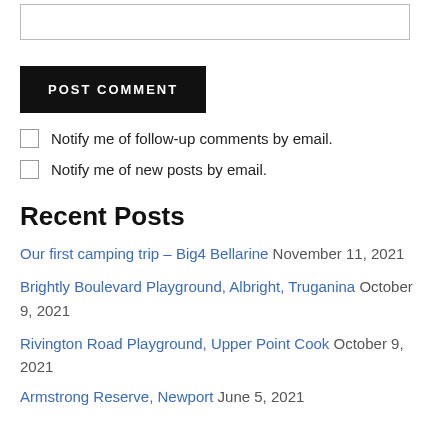[Figure (other): Textarea input box (empty)]
POST COMMENT
Notify me of follow-up comments by email.
Notify me of new posts by email.
Recent Posts
Our first camping trip – Big4 Bellarine  November 11, 2021
Brightly Boulevard Playground, Albright, Truganina  October 9, 2021
Rivington Road Playground, Upper Point Cook  October 9, 2021
Armstrong Reserve, Newport  June 5, 2021